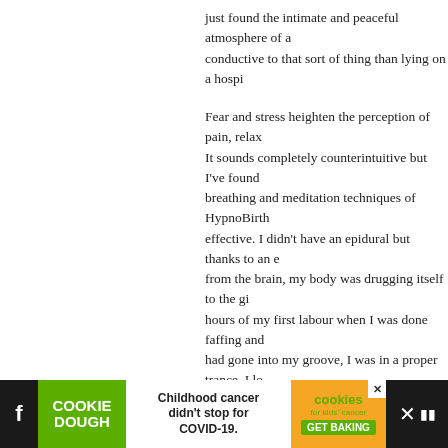just found the intimate and peaceful atmosphere of a home conductive to that sort of thing than lying on a hospi...
Fear and stress heighten the perception of pain, relax... It sounds completely counterintuitive but I've found breathing and meditation techniques of HypnoBirth effective. I didn't have an epidural but thanks to an e from the brain, my body was drugging itself to the gi hours of my first labour when I was done faffing and had gone into my groove, I was in a proper trance. I lo time and there was no sense of pain.
Anyway. There's more than one method of pain relief ☺
> Reply
MOnica says:
JULY 12TH, 2011 AT 2:36 PM
LOL! Glad for cars and modern medicine!
> Reply
[Figure (infographic): Cookie Dough advertisement banner at the bottom: green 'COOKIE DOUGH' box on left, white center with text 'Childhood cancer didn't stop for COVID-19.', orange 'cookies for kids cancer GET BAKING' logo on right, dark bars on far left and right with close/mute icons.]